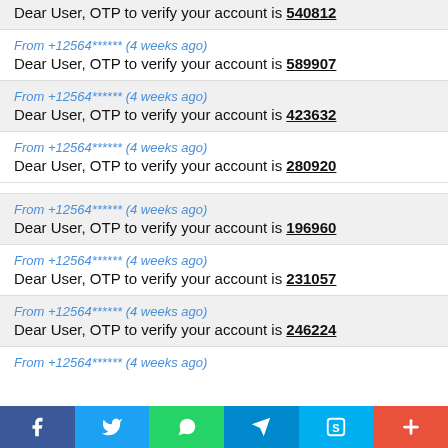Dear User, OTP to verify your account is 540812
From +12564****** (4 weeks ago)
Dear User, OTP to verify your account is 589907
From +12564****** (4 weeks ago)
Dear User, OTP to verify your account is 423632
From +12564****** (4 weeks ago)
Dear User, OTP to verify your account is 280920
From +12564****** (4 weeks ago)
Dear User, OTP to verify your account is 196960
From +12564****** (4 weeks ago)
Dear User, OTP to verify your account is 231057
From +12564****** (4 weeks ago)
Dear User, OTP to verify your account is 246224
From +12564****** (4 weeks ago)